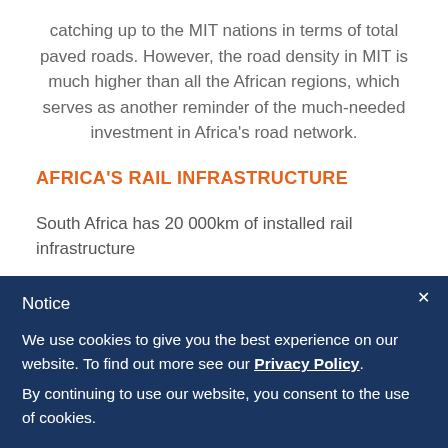catching up to the MIT nations in terms of total paved roads. However, the road density in MIT is much higher than all the African regions, which serves as another reminder of the much-needed investment in Africa's road network.
AFRICA'S RAIL INFRASTRUCTURE
South Africa has 20 000km of installed rail infrastructure
Notice
We use cookies to give you the best experience on our website. To find out more see our Privacy Policy. By continuing to use our website, you consent to the use of cookies.